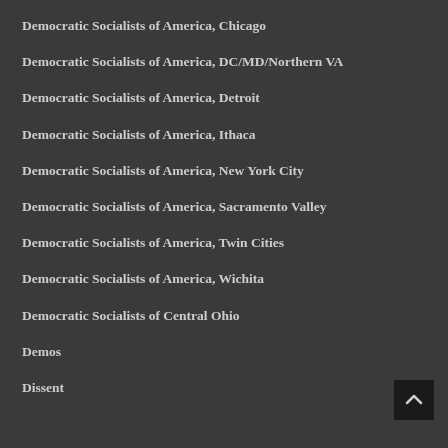Democratic Socialists of America, Chicago
Democratic Socialists of America, DC/MD/Northern VA
Democratic Socialists of America, Detroit
Democratic Socialists of America, Ithaca
Democratic Socialists of America, New York City
Democratic Socialists of America, Sacramento Valley
Democratic Socialists of America, Twin Cities
Democratic Socialists of America, Wichita
Democratic Socialists of Central Ohio
Demos
Dissent
Gorbachev Foundation North America